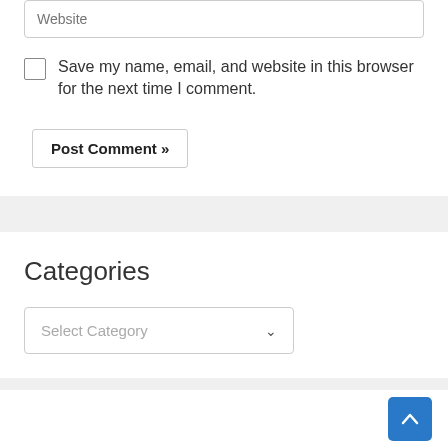Website
Save my name, email, and website in this browser for the next time I comment.
Post Comment »
Categories
Select Category
[Figure (other): Scroll-to-top button, blue square with white upward chevron arrow]